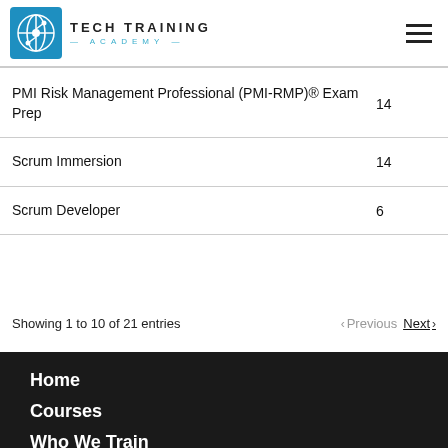[Figure (logo): Tech Training Academy logo with blue globe icon and text TECH TRAINING ACADEMY]
| Course | Hours |
| --- | --- |
| PMI Risk Management Professional (PMI-RMP)® Exam Prep | 14 |
| Scrum Immersion | 14 |
| Scrum Developer | 6 |
Showing 1 to 10 of 21 entries
Previous  Next
Home
Courses
Who We Train
About